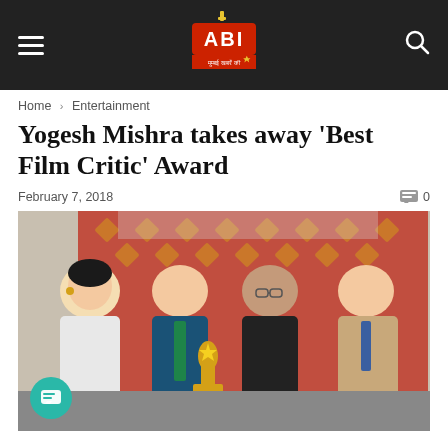ABI — navigation header with hamburger menu, ABI logo, and search icon
Home > Entertainment
Yogesh Mishra takes away 'Best Film Critic' Award
February 7, 2018   0
[Figure (photo): Four people posing together holding a golden trophy award. A woman in a white saree is on the left, two men in the center holding the trophy (one in a blue suit with green tie, one in black), and a man in a beige suit on the right. Red decorated backdrop behind them.]